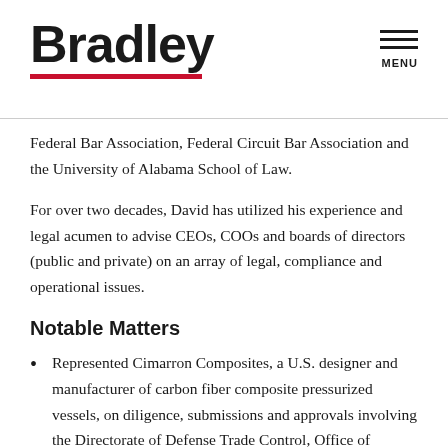Bradley | MENU
Federal Bar Association, Federal Circuit Bar Association and the University of Alabama School of Law.
For over two decades, David has utilized his experience and legal acumen to advise CEOs, COOs and boards of directors (public and private) on an array of legal, compliance and operational issues.
Notable Matters
Represented Cimarron Composites, a U.S. designer and manufacturer of carbon fiber composite pressurized vessels, on diligence, submissions and approvals involving the Directorate of Defense Trade Control, Office of Foreign Asset Control, the